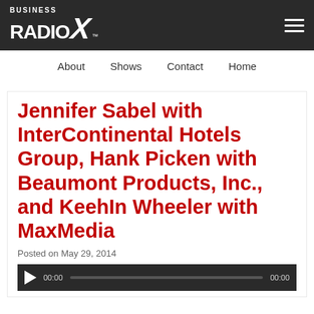Business Radio X — navigation: About, Shows, Contact, Home
Jennifer Sabel with InterContinental Hotels Group, Hank Picken with Beaumont Products, Inc., and KeehIn Wheeler with MaxMedia
Posted on May 29, 2014